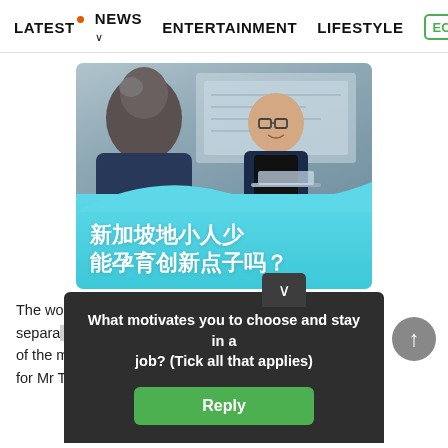LATEST  NEWS ∨  ENTERTAINMENT  LIFESTYLE  EC›
[Figure (photo): Two men in business attire in a meeting room setting, one facing camera smiling, with Chinese text overlay reading '新加坡地小人少 能孕育创新点子吗?' on a teal gradient background]
The wo[rld is changing at an incredible pace, separating] [th]ose who adapt fr[om those who ca]n[not and part of the m]atter [is whether innovation is suita]ble for Mr T[...]
What motivates you to choose and stay in a job? (Tick all that applies)
Reply